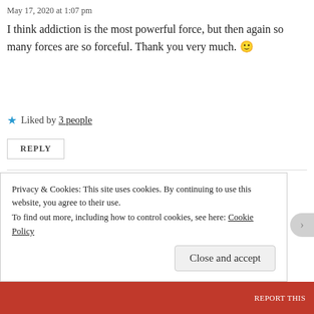May 17, 2020 at 1:07 pm
I think addiction is the most powerful force, but then again so many forces are so forceful. Thank you very much. 🙂
★ Liked by 3 people
REPLY
paeansunplugged
May 17, 2020 at 1:10 pm
Privacy & Cookies: This site uses cookies. By continuing to use this website, you agree to their use.
To find out more, including how to control cookies, see here: Cookie Policy
Close and accept